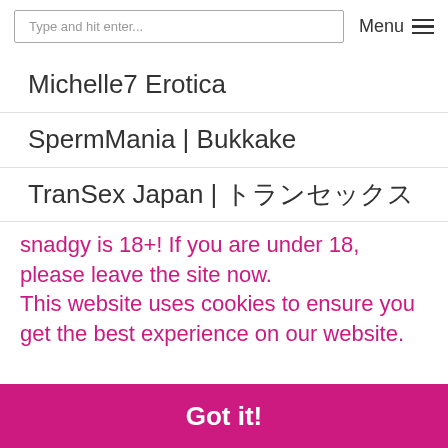Type and hit enter...   Menu ☰
Michelle7 Erotica
SpermMania | Bukkake
TranSex Japan | トランスジャパン
snadgy is 18+! If you are under 18, please leave the site now.
This website uses cookies to ensure you get the best experience on our website.
Got it!